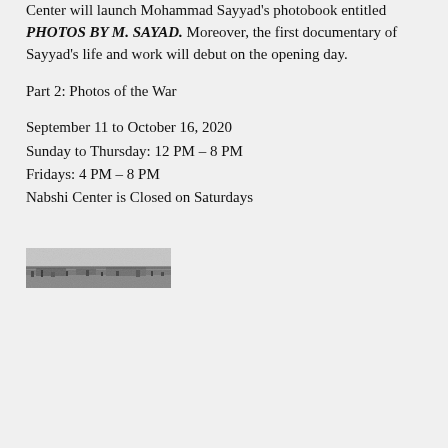Center will launch Mohammad Sayyad's photobook entitled PHOTOS BY M. SAYAD. Moreover, the first documentary of Sayyad's life and work will debut on the opening day.
Part 2: Photos of the War
September 11 to October 16, 2020
Sunday to Thursday: 12 PM – 8 PM
Fridays: 4 PM – 8 PM
Nabshi Center is Closed on Saturdays
[Figure (photo): A small black and white photograph showing a landscape, possibly a war scene with terrain and sparse vegetation.]